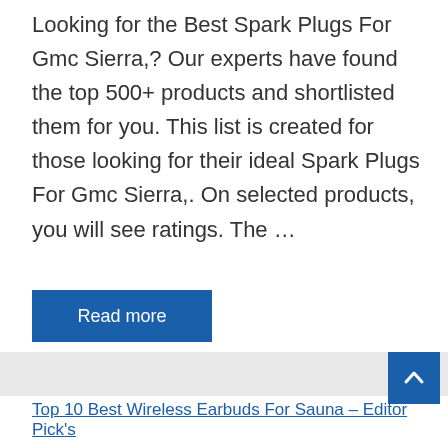Looking for the Best Spark Plugs For Gmc Sierra,? Our experts have found the top 500+ products and shortlisted them for you. This list is created for those looking for their ideal Spark Plugs For Gmc Sierra,. On selected products, you will see ratings. The ...
Read more
Top 10 Best Wireless Earbuds For Sauna – Editor Pick's